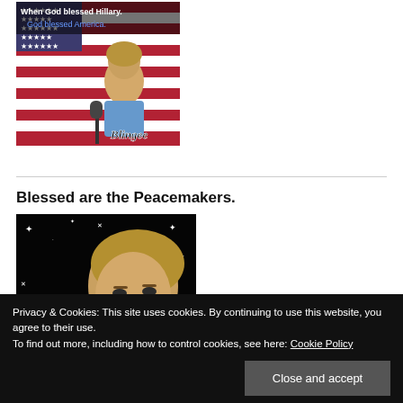[Figure (photo): Political meme image showing a woman speaking at a microphone in front of an American flag with text 'When God blessed Hillary. God blessed America.' and a Blingee watermark.]
Blessed are the Peacemakers.
[Figure (photo): Blingee-style image of a woman on a black background with sparkles and a white dove graphic.]
Privacy & Cookies: This site uses cookies. By continuing to use this website, you agree to their use.
To find out more, including how to control cookies, see here: Cookie Policy
Close and accept